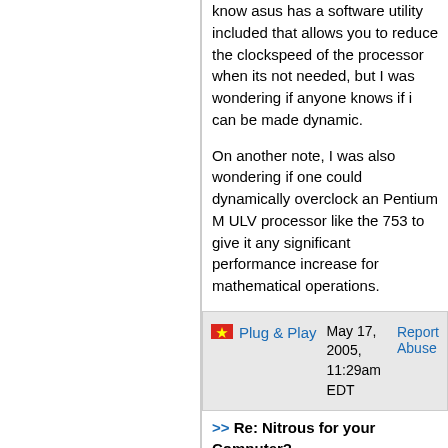know asus has a software utility included that allows you to reduce the clockspeed of the processor when its not needed, but I was wondering if anyone knows if i can be made dynamic.
On another note, I was also wondering if one could dynamically overclock an Pentium M ULV processor like the 753 to give it any significant performance increase for mathematical operations.
Plug & Play  May 17, 2005, 11:29am EDT  Report Abuse
>> Re: Nitrous for your Computer?
Are you sure its the CORE CELL(D.O.T) technology and not the Cool N Quiet enabled in the bois?
I have the same MSI board and I dont have it enabled, At least I dont think I have. When I tryed to